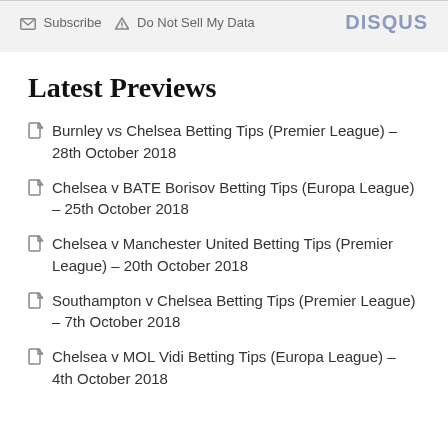Subscribe  Do Not Sell My Data  DISQUS
Latest Previews
Burnley vs Chelsea Betting Tips (Premier League) – 28th October 2018
Chelsea v BATE Borisov Betting Tips (Europa League) – 25th October 2018
Chelsea v Manchester United Betting Tips (Premier League) – 20th October 2018
Southampton v Chelsea Betting Tips (Premier League) – 7th October 2018
Chelsea v MOL Vidi Betting Tips (Europa League) – 4th October 2018